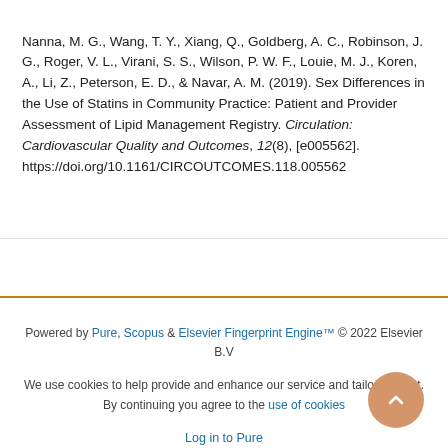Nanna, M. G., Wang, T. Y., Xiang, Q., Goldberg, A. C., Robinson, J. G., Roger, V. L., Virani, S. S., Wilson, P. W. F., Louie, M. J., Koren, A., Li, Z., Peterson, E. D., & Navar, A. M. (2019). Sex Differences in the Use of Statins in Community Practice: Patient and Provider Assessment of Lipid Management Registry. Circulation: Cardiovascular Quality and Outcomes, 12(8), [e005562]. https://doi.org/10.1161/CIRCOUTCOMES.118.005562
Powered by Pure, Scopus & Elsevier Fingerprint Engine™ © 2022 Elsevier B.V
We use cookies to help provide and enhance our service and tailor content. By continuing you agree to the use of cookies
Log in to Pure
About web accessibility